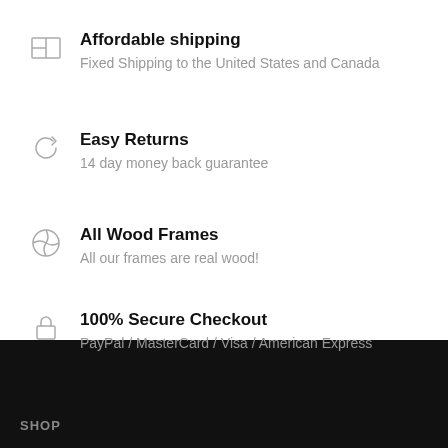Affordable shipping
Fixed Shipping to the United States and Canada
Easy Returns
14 day money back guarantee
All Wood Frames
All our frames are real wood!
100% Secure Checkout
PayPal / MasterCard / Visa / American Express
SHOP